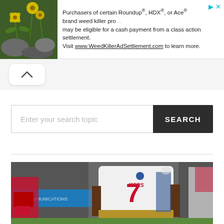[Figure (screenshot): Advertisement banner: photo of yellow flowers on left, text about Roundup/HDX/Ace weed killer class action settlement, with close/arrow icons top right]
[Figure (screenshot): Navigation bar with chevron (up/back) button]
Enter your search topic
SEARCH
[Figure (photo): Photo of San Francisco 49ers player wearing jersey number 7 kneeling, with other players visible in background]